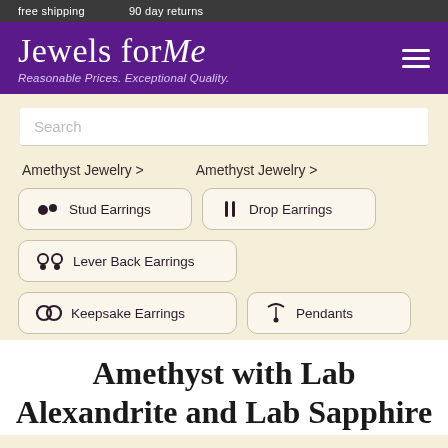free shipping   90 day returns
Jewels for Me
Reasonable Prices. Exceptional Quality.
Search
Amethyst Jewelry >
Amethyst Jewelry >
Stud Earrings
Drop Earrings
Lever Back Earrings
Keepsake Earrings
Pendants
Amethyst with Lab Alexandrite and Lab Sapphire